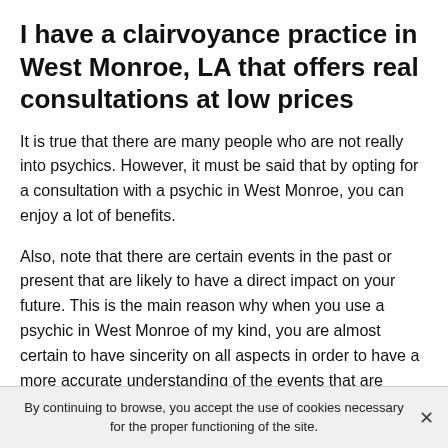I have a clairvoyance practice in West Monroe, LA that offers real consultations at low prices
It is true that there are many people who are not really into psychics. However, it must be said that by opting for a consultation with a psychic in West Monroe, you can enjoy a lot of benefits.
Also, note that there are certain events in the past or present that are likely to have a direct impact on your future. This is the main reason why when you use a psychic in West Monroe of my kind, you are almost certain to have sincerity on all aspects in order to have a more accurate understanding of the events that are upsetting you.
By continuing to browse, you accept the use of cookies necessary for the proper functioning of the site.